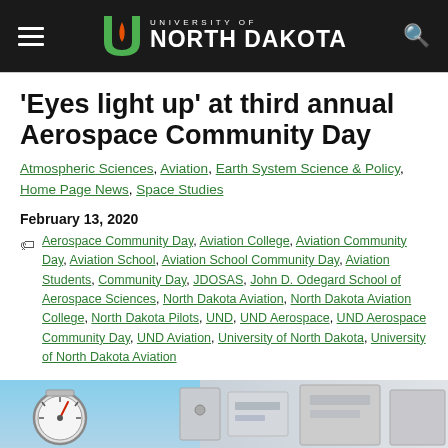University of North Dakota
'Eyes light up' at third annual Aerospace Community Day
Atmospheric Sciences, Aviation, Earth System Science & Policy, Home Page News, Space Studies
February 13, 2020
Aerospace Community Day, Aviation College, Aviation Community Day, Aviation School, Aviation School Community Day, Aviation Students, Community Day, JDOSAS, John D. Odegard School of Aerospace Sciences, North Dakota Aviation, North Dakota Aviation College, North Dakota Pilots, UND, UND Aerospace, UND Aerospace Community Day, UND Aviation, University of North Dakota, University of North Dakota Aviation
[Figure (photo): Partial photo of an instrument or cockpit gauges, showing a round gauge and equipment in the background]